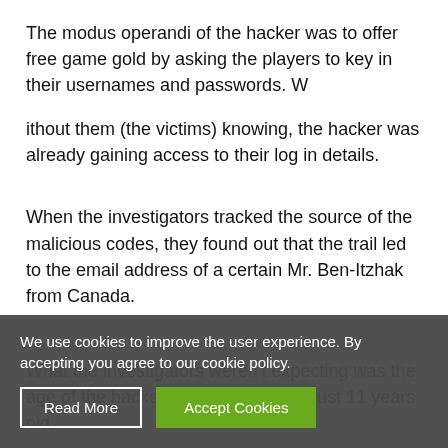The modus operandi of the hacker was to offer free game gold by asking the players to key in their usernames and passwords. W
ithout them (the victims) knowing, the hacker was already gaining access to their log in details.
When the investigators tracked the source of the malicious codes, they found out that the trail led to the email address of a certain Mr. Ben-Itzhak from Canada.
What the investigators weren't expecting was the age of the hacker. Mr. Ben-Itzhak is just 11 years old.
We use cookies to improve the user experience. By accepting you agree to our cookie policy.